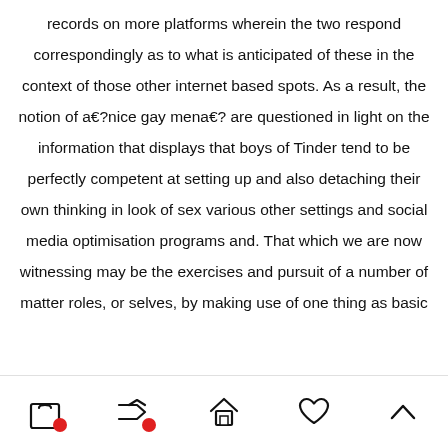records on more platforms wherein the two respond correspondingly as to what is anticipated of these in the context of those other internet based spots. As a result, the notion of a€?nice gay mena€? are questioned in light on the information that displays that boys of Tinder tend to be perfectly competent at setting up and also detaching their own thinking in look of sex various other settings and social media optimisation programs and. That which we are now witnessing may be the exercises and pursuit of a number of matter roles, or selves, by making use of one thing as basic
[Figure (other): Mobile app bottom navigation bar with 5 icons: shopping bag (with red badge), shuffle/share icon (with red badge), home, heart, and chevron up]